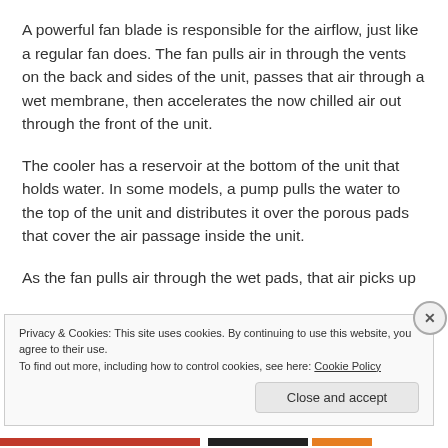A powerful fan blade is responsible for the airflow, just like a regular fan does. The fan pulls air in through the vents on the back and sides of the unit, passes that air through a wet membrane, then accelerates the now chilled air out through the front of the unit.
The cooler has a reservoir at the bottom of the unit that holds water. In some models, a pump pulls the water to the top of the unit and distributes it over the porous pads that cover the air passage inside the unit.
As the fan pulls air through the wet pads, that air picks up
Privacy & Cookies: This site uses cookies. By continuing to use this website, you agree to their use.
To find out more, including how to control cookies, see here: Cookie Policy
Close and accept